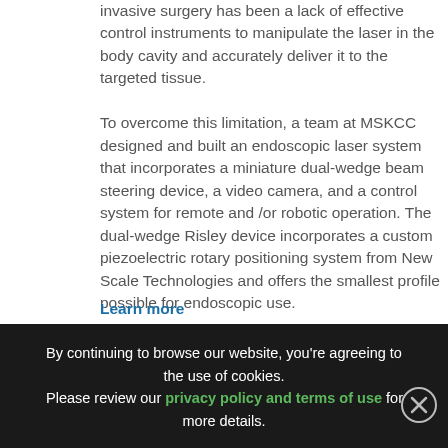invasive surgery has been a lack of effective control instruments to manipulate the laser in the body cavity and accurately deliver it to the targeted tissue.
To overcome this limitation, a team at MSKCC designed and built an endoscopic laser system that incorporates a miniature dual-wedge beam steering device, a video camera, and a control system for remote and /or robotic operation. The dual-wedge Risley device incorporates a custom piezoelectric rotary positioning system from New Scale Technologies and offers the smallest profile possible for endoscopic use.
Learn more
[Figure (photo): Photograph of the tip of an endoscopic laser device, showing a cylindrical metallic instrument with lens apertures visible on the front face.]
By continuing to browse our website, you're agreeing to the use of cookies. Please review our privacy policy and terms of use for more details.